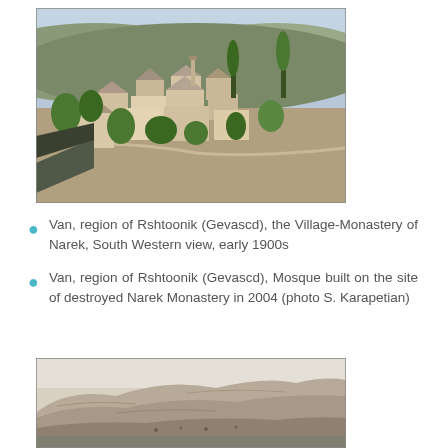[Figure (photo): Aerial/elevated view of a village with stone and mud-brick buildings, green trees, and rolling hills in the background. Village-Monastery of Narek, South Western view, early 1900s.]
Van, region of Rshtoonik (Gevascd), the Village-Monastery of Narek, South Western view, early 1900s
Van, region of Rshtoonik (Gevascd), Mosque built on the site of destroyed Narek Monastery in 2004 (photo S. Karapetian)
[Figure (photo): Black and white historical photograph of a rocky, barren hillside or mound, presumably the site of Narek Monastery.]